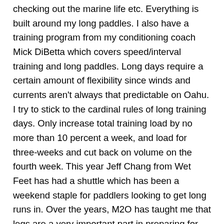checking out the marine life etc. Everything is built around my long paddles. I also have a training program from my conditioning coach Mick DiBetta which covers speed/interval training and long paddles. Long days require a certain amount of flexibility since winds and currents aren't always that predictable on Oahu. I try to stick to the cardinal rules of long training days. Only increase total training load by no more than 10 percent a week, and load for three-weeks and cut back on volume on the fourth week. This year Jeff Chang from Wet Feet has had a shuttle which has been a weekend staple for paddlers looking to get long runs in. Over the years, M2O has taught me that legs are a very important part in preparing for the race. In general if I can do four hours or longer in open ocean type conditions then I have a solid chance of being able to make it across.
The second part of the training plan is speed and interval training and the third part is strength training. I train at Tactical